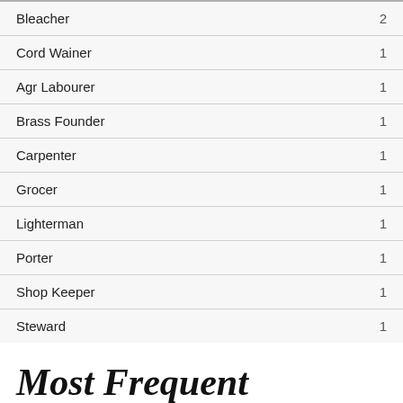| Occupation | Count |
| --- | --- |
| Bleacher | 2 |
| Cord Wainer | 1 |
| Agr Labourer | 1 |
| Brass Founder | 1 |
| Carpenter | 1 |
| Grocer | 1 |
| Lighterman | 1 |
| Porter | 1 |
| Shop Keeper | 1 |
| Steward | 1 |
Most Frequent